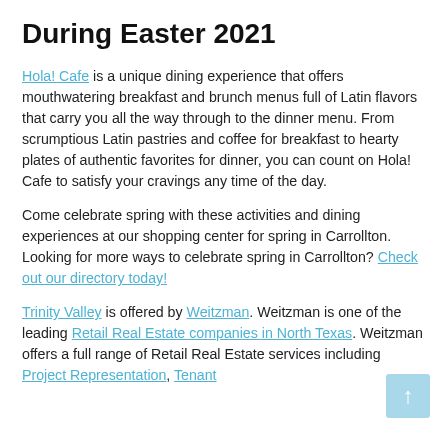During Easter 2021
Hola! Cafe is a unique dining experience that offers mouthwatering breakfast and brunch menus full of Latin flavors that carry you all the way through to the dinner menu. From scrumptious Latin pastries and coffee for breakfast to hearty plates of authentic favorites for dinner, you can count on Hola! Cafe to satisfy your cravings any time of the day.
Come celebrate spring with these activities and dining experiences at our shopping center for spring in Carrollton. Looking for more ways to celebrate spring in Carrollton? Check out our directory today!
Trinity Valley is offered by Weitzman. Weitzman is one of the leading Retail Real Estate companies in North Texas. Weitzman offers a full range of Retail Real Estate services including Project Representation, Tenant